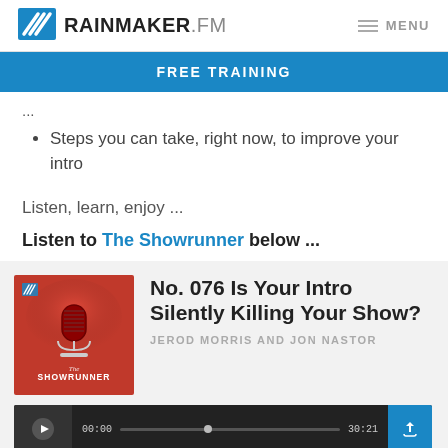RAINMAKER.FM  MENU
FREE TRAINING
...
Steps you can take, right now, to improve your intro
Listen, learn, enjoy ...
Listen to The Showrunner below ...
[Figure (illustration): The Showrunner podcast cover art — red background with microphone illustration]
No. 076 Is Your Intro Silently Killing Your Show?
JEROD MORRIS AND JON NASTOR
[Figure (screenshot): Audio player bar with play button, time code 00:00, progress bar, time 30:21 and share icon]